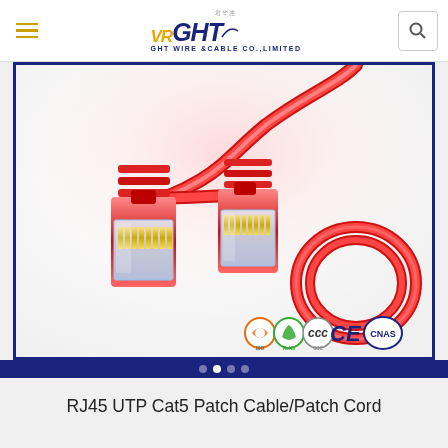GHT WIRE & CABLE CO., LIMITED
[Figure (photo): Red RJ45 UTP Cat5 patch cable/patch cord showing two close-up connector ends with gold contacts, the full cable coiled in the background, and certification logos (ISO, RoHS, CCC, CE, CNAS) at bottom right. Product photo on white background with dark blue border.]
RJ45 UTP Cat5 Patch Cable/Patch Cord